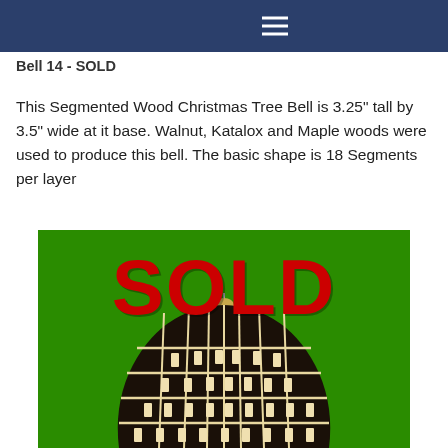Bell 14 - SOLD
This Segmented Wood Christmas Tree Bell is 3.25" tall by 3.5" wide at it base. Walnut, Katalox and Maple woods were used to produce this bell. The basic shape is 18 Segments per layer
[Figure (photo): A segmented wood Christmas tree bell made from Walnut, Katalox and Maple woods, shown on a green background with a large red 'SOLD' text overlay. The bell has a dome shape with a geometric pattern of dark and light segments arranged in a grid-like pattern.]